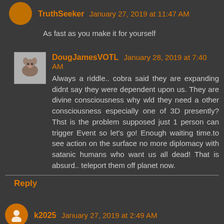TruthSeeker January 27, 2019 at 11:47 AM
As fast as you make it for yourself
DougJamesVOTL January 28, 2019 at 7:40 AM
Always a riddle.. cobra said they are expanding didnt say they were dependent upon us. They are divine consciousness why wld they need a other consciousness especially one of 3D presently? Thst is the problem supposed just 1 person can trigger Event so let's go! Enough waiting time.to see action on the surface no more diplomacy with satanic humans who want us all dead! That is absurd.. teleport them off planet now.
Reply
k2025 January 27, 2019 at 2:49 AM
Keep dreaming of an event you lowly surface humans! Lick